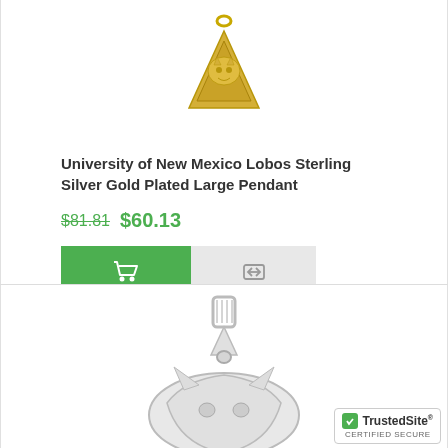[Figure (photo): Gold plated large pendant with wolf/Lobo design in triangular shape, University of New Mexico]
University of New Mexico Lobos Sterling Silver Gold Plated Large Pendant
$81.81  $60.13
[Figure (photo): Sterling silver large pendant with Lobo/wolf design, University of New Mexico, shown on white background]